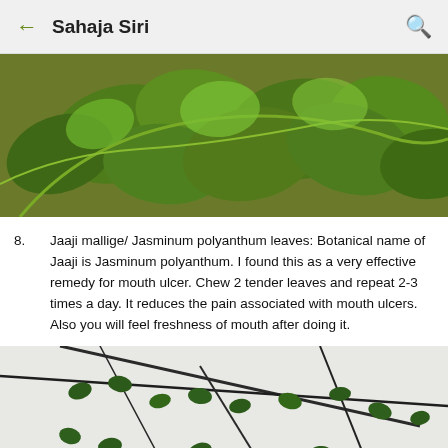Sahaja Siri
[Figure (photo): Close-up photo of green spinach/herbaceous plant leaves on the ground]
8. Jaaji mallige/ Jasminum polyanthum leaves: Botanical name of Jaaji is Jasminum polyanthum. I found this as a very effective remedy for mouth ulcer. Chew 2 tender leaves and repeat 2-3 times a day. It reduces the pain associated with mouth ulcers. Also you will feel freshness of mouth after doing it.
[Figure (photo): Photo of jasmine plant branches with white flower and dark green leaves against a white background, with 'Sahaja Siri' watermark]